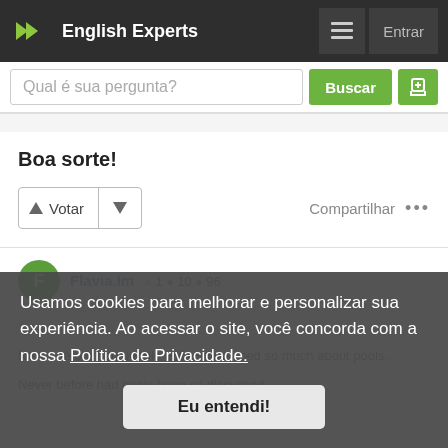English Experts
Qual é sua pergunta?
Boa sorte!
Compartilhar
Flavia.Im • 1 • 10 • 96
Usamos cookies para melhorar e personalizar sua experiência. Ao acessar o site, você concorda com a nossa Política de Privacidade.
Never before had people talked/discussed so much about pools.
Never before had pools been so discussed.
Eu entendi!